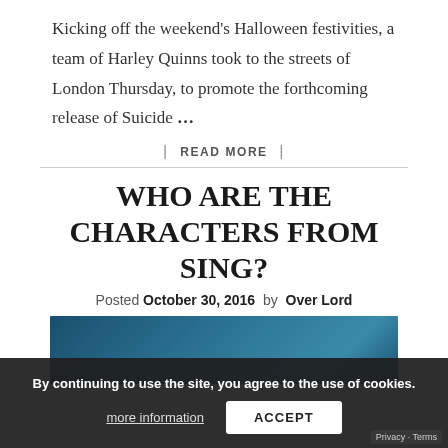Kicking off the weekend's Halloween festivities, a team of Harley Quinns took to the streets of London Thursday, to promote the forthcoming release of Suicide …
| READ MORE |
WHO ARE THE CHARACTERS FROM SING?
Posted October 30, 2016 by Over Lord
[Figure (photo): Photo of a character from the movie Sing, partially visible, showing a figure with wild hair playing a guitar against a teal/blue background]
By continuing to use the site, you agree to the use of cookies. more information ACCEPT